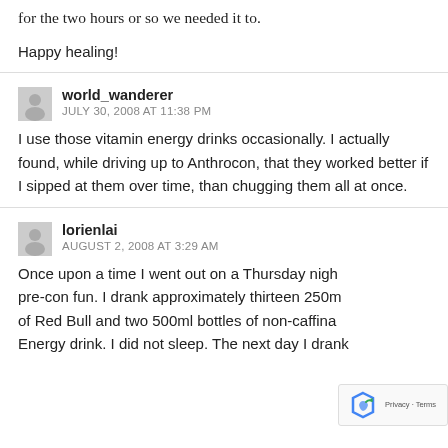for the two hours or so we needed it to.
Happy healing!
world_wanderer
JULY 30, 2008 AT 11:38 PM
I use those vitamin energy drinks occasionally. I actually found, while driving up to Anthrocon, that they worked better if I sipped at them over time, than chugging them all at once.
lorienlai
AUGUST 2, 2008 AT 3:29 AM
Once upon a time I went out on a Thursday nigh pre-con fun. I drank approximately thirteen 250m of Red Bull and two 500ml bottles of non-caffina Energy drink. I did not sleep. The next day I drank